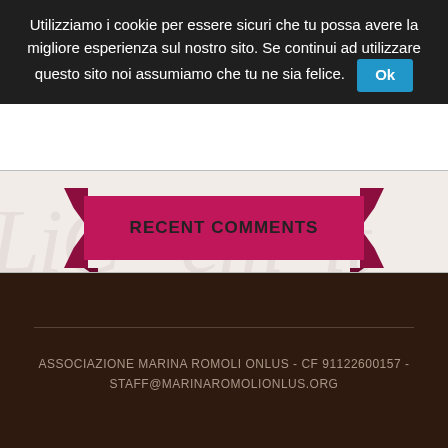Utilizziamo i cookie per essere sicuri che tu possa avere la migliore esperienza sul nostro sito. Se continui ad utilizzare questo sito noi assumiamo che tu ne sia felice. Ok
RECENT COMMENTS
CATEGORIES
Aiuta la Marina Romoli Onlus @en
ASSOCIAZIONE MARINA ROMOLI ONLUS - CF 91122600157 - STAFF@MARINAROMOLIONLUS.ORG